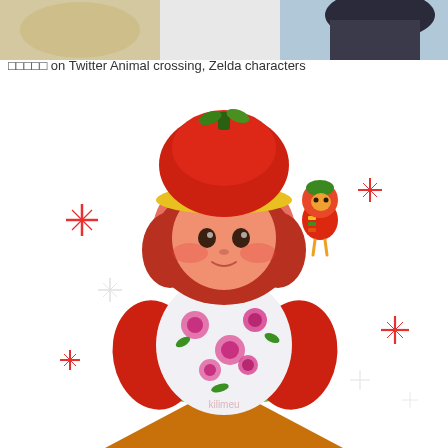[Figure (illustration): Partial image at top of page showing anime-style illustrated characters, cropped at bottom of frame — dark-haired figure visible against light background.]
□□□□□ on Twitter Animal crossing, Zelda characters
[Figure (illustration): Digital fan art illustration of an Animal Crossing villager styled as a tomato/Strawberry Shortcake character. The character has short red hair, wears a large red beret-style hat with a green stem on top and a yellow brim, and a white floral dress with pink flowers and green leaves. The character has rosy red cheeks and a small smile. Red sparkle/star decorations surround the character. In the upper right, a small chibi-style Animal Crossing villager also dressed in a tomato outfit is shown. The character sits on an orange-yellow triangular shape at the bottom. A watermark reading 'kilimeu' appears in the lower center area. The background is white.]